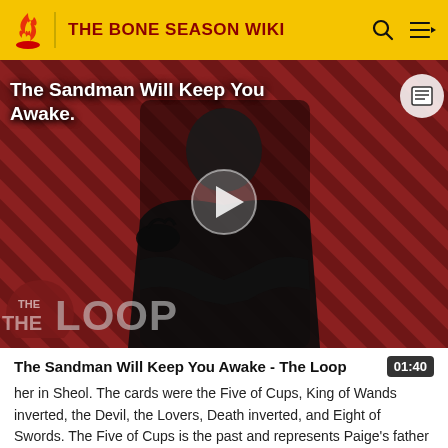THE BONE SEASON WIKI
[Figure (screenshot): Video thumbnail showing a dark-robed figure against a red and black diagonal striped background with 'THE LOOP' logo overlay. Play button in center. Title overlay reads 'The Sandman Will Keep You Awake.']
The Sandman Will Keep You Awake - The Loop
her in Sheol. The cards were the Five of Cups, King of Wands inverted, the Devil, the Lovers, Death inverted, and Eight of Swords. The Five of Cups is the past and represents Paige's father in mourning, presumably for his